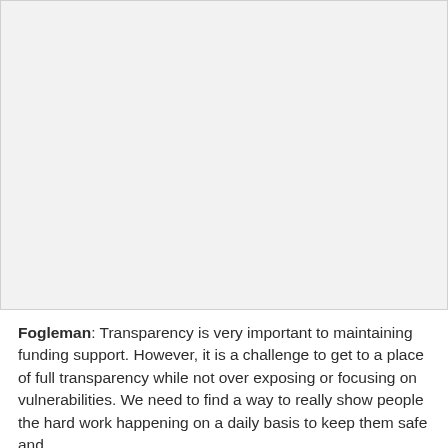[Figure (photo): Large blank/light gray image placeholder occupying the upper portion of the page]
Fogleman: Transparency is very important to maintaining funding support. However, it is a challenge to get to a place of full transparency while not over exposing or focusing on vulnerabilities. We need to find a way to really show people the hard work happening on a daily basis to keep them safe and